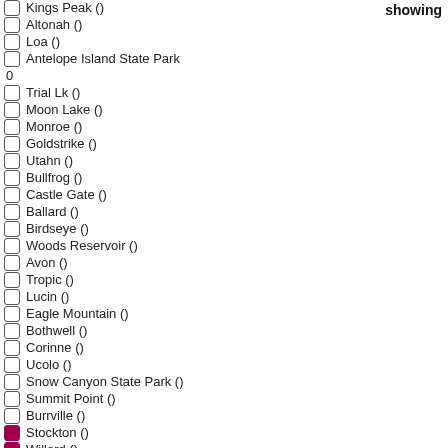showing
Kings Peak ()
Altonah ()
Loa ()
Antelope Island State Park
()
Trial Lk ()
Moon Lake ()
Monroe ()
Goldstrike ()
Utahn ()
Bullfrog ()
Castle Gate ()
Ballard ()
Birdseye ()
Woods Reservoir ()
Avon ()
Tropic ()
Lucin ()
Eagle Mountain ()
Bothwell ()
Corinne ()
Ucolo ()
Snow Canyon State Park ()
Summit Point ()
Burrville ()
Stockton () [checked]
Willard () [checked]
Beaver Mtn ()
Soldier Summit ()
Bicknell ()
Woodland ()
Uintah ()
Ivins ()